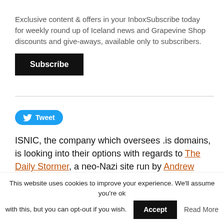Exclusive content & offers in your InboxSubscribe today for weekly round up of Iceland news and Grapevine Shop discounts and give-aways, available only to subscribers.
Subscribe
Tweet
ISNIC, the company which oversees .is domains, is looking into their options with regards to The Daily Stormer, a neo-Nazi site run by Andrew Anglin, a white supremacist who is currently facing a lawsuit on charges
This website uses cookies to improve your experience. We'll assume you're ok with this, but you can opt-out if you wish.
Accept
Read More